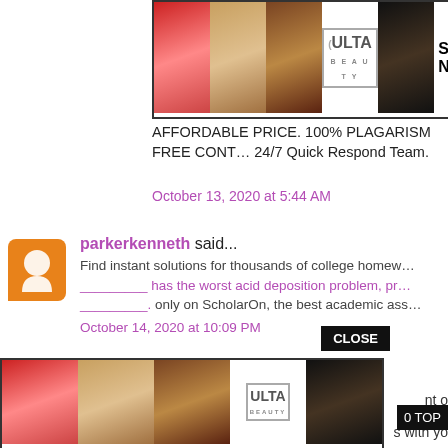[Figure (illustration): Ulta Beauty advertisement banner showing multiple close-up beauty photos (lips with makeup brush, eye with eyeshadow) and Ulta Beauty logo with SHOP NOW button]
AFFORDABLE PRICE. 100% PLAGARISM FREE CONT… 24/7 Quick Respond Team.
October 13, 2020 at 5:44 AM
parkerkenneth said...
Find instant solutions for thousands of college homew… _________ has the worst acid deposition problem, pr… _________. only on ScholarOn, the best academic ass…
October 14, 2020 at 10:09 PM
emmasmith said...
When it comes to your career prospect… bright futu… … s with yo…
[Figure (illustration): Ulta Beauty advertisement banner at bottom of page, same as top banner, with CLOSE button and TO TOP button overlaid]